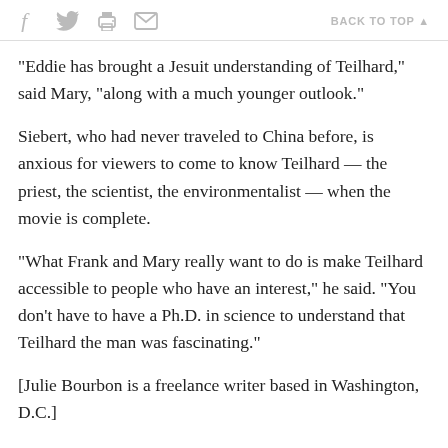f  [twitter]  [print]  [mail]   BACK TO TOP ▲
"Eddie has brought a Jesuit understanding of Teilhard," said Mary, "along with a much younger outlook."
Siebert, who had never traveled to China before, is anxious for viewers to come to know Teilhard — the priest, the scientist, the environmentalist — when the movie is complete.
"What Frank and Mary really want to do is make Teilhard accessible to people who have an interest," he said. "You don't have to have a Ph.D. in science to understand that Teilhard the man was fascinating."
[Julie Bourbon is a freelance writer based in Washington, D.C.]
* A caption in this story has been updated to clarify the identity of a person in the photo, and the name of Frank